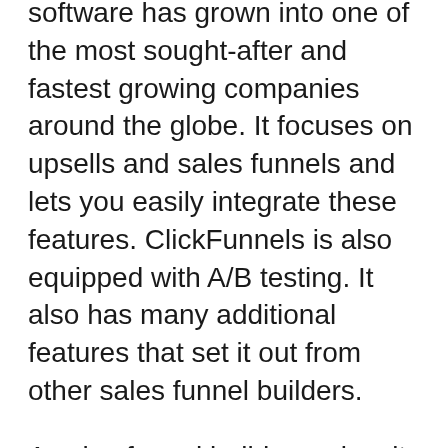software has grown into one of the most sought-after and fastest growing companies around the globe. It focuses on upsells and sales funnels and lets you easily integrate these features. ClickFunnels is also equipped with A/B testing. It also has many additional features that set it out from other sales funnel builders.
A sales funnel builder makes it simple to design a well-organized sales procedure for your business. It allows you to create pages and automate retargeting. It converts website visitors into paying customers and gathers leads. There are many things to learn about funnel building software. Knowing how to use it and how you can select the right software for your company is